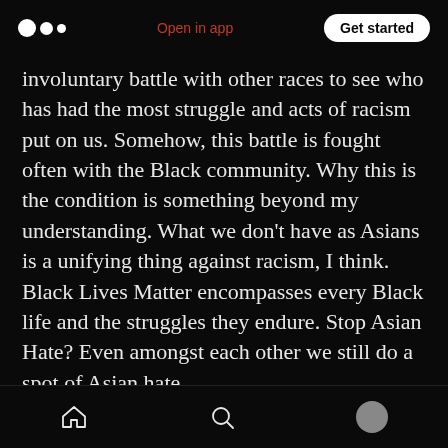Medium logo | Open in app | Get started
involuntary battle with other races to see who has had the most struggle and acts of racism put on us. Somehow, this battle is fought often with the Black community. Why this is the condition is something beyond my understanding. What we don't have as Asians is a unifying thing against racism, I think. Black Lives Matter encompasses every Black life and the struggles they endure. Stop Asian Hate? Even amongst each other we still do a spot of Asian hate.

Being Asian means constantly being undermined,
Home | Search | Profile